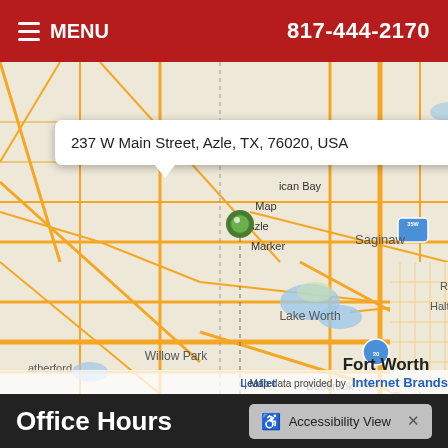MENU  817-444-2170
[Figure (map): Street map showing the area around Azle, TX with a popup showing address '237 W Main Street, Azle, TX, 76020, USA'. Map shows surrounding areas including Reno, Pelican Bay, Saginaw, Lake Worth, Willow Park, Weatherford, Fort Worth, Benbrook, Richland Hills, Haltom City. Map data provided by Leaflet and Internet Brands.]
Office Hours
Accessibility View